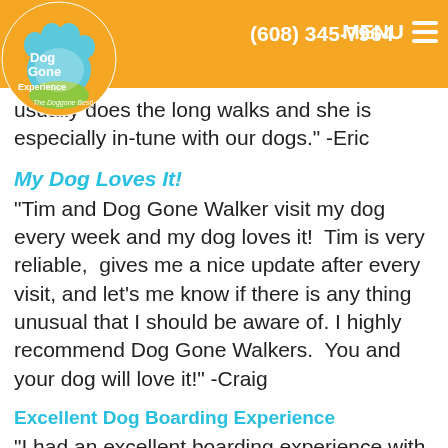(608) 345-7964  MENU
[Figure (logo): Dog Gone Experience logo — circular paw print in teal/blue with text 'Dog Gone Experience' and 'The Doggone Best!']
usually does the long walks and she is especially in-tune with our dogs." -Eric
My Dog Loves It!
"Tim and Dog Gone Walker visit my dog every week and my dog loves it!  Tim is very reliable,  gives me a nice update after every visit, and let's me know if there is any thing unusual that I should be aware of. I highly recommend Dog Gone Walkers.  You and your dog will love it!" -Craig
Excellent Dog Boarding Experience
"I had an excellent boarding experience with Tim and Dog Gone Walkers. Our rescue dog has never been boarded before so we